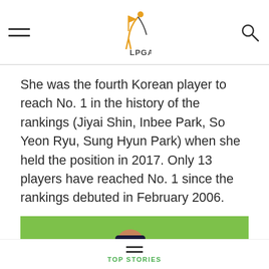LPGA
She was the fourth Korean player to reach No. 1 in the history of the rankings (Jiyai Shin, Inbee Park, So Yeon Ryu, Sung Hyun Park) when she held the position in 2017. Only 13 players have reached No. 1 since the rankings debuted in February 2006.
[Figure (photo): Female golfer from behind, wearing a blue shirt, white arm sleeve, dark pants, and a visor, standing on a golf course green, raising her right arm.]
TOP STORIES